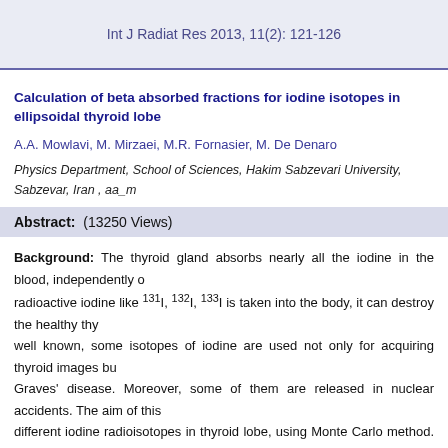Int J Radiat Res 2013, 11(2): 121-126
Calculation of beta absorbed fractions for iodine isotopes in ellipsoidal thyroid lobe
A.A. Mowlavi, M. Mirzaei, M.R. Fornasier, M. De Denaro
Physics Department, School of Sciences, Hakim Sabzevari University, Sabzevar, Iran , aa_m
Abstract: (13250 Views)
Background: The thyroid gland absorbs nearly all the iodine in the blood, independently of radioactive iodine like 131I, 132I, 133I is taken into the body, it can destroy the healthy thy well known, some isotopes of iodine are used not only for acquiring thyroid images bu Graves' disease. Moreover, some of them are released in nuclear accidents. The aim of this different iodine radioisotopes in thyroid lobe, using Monte Carlo method. Materials and M beta absorbed fractions for the most important iodine radioisotopes in the thyroid lobes varying from 1 ml to 25 ml and the material composition suggested by ICRP. The beta raw